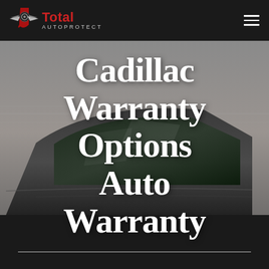Total AUTOPROTECT
[Figure (photo): Hero image of a dark luxury car (Cadillac) with blurred motion background, with large white serif text overlay reading 'Cadillac Warranty Options Auto Warranty' and a horizontal white divider line at the bottom]
Cadillac Warranty Options Auto Warranty